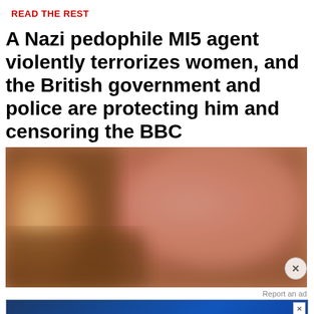READ THE REST
A Nazi pedophile MI5 agent violently terrorizes women, and the British government and police are protecting him and censoring the BBC
[Figure (photo): Blurred/obscured photograph with warm orange and pink tones, showing an indistinct blurred subject]
Report an ad
[Figure (other): Disney Bundle advertisement banner showing Hulu, Disney+, ESPN+ logos with 'GET THE DISNEY BUNDLE' call to action in blue. Fine print: Incl. Hulu (ad-supported) or Hulu (No Ads). Access content from each service separately. ©2021 Disney and its related entities]